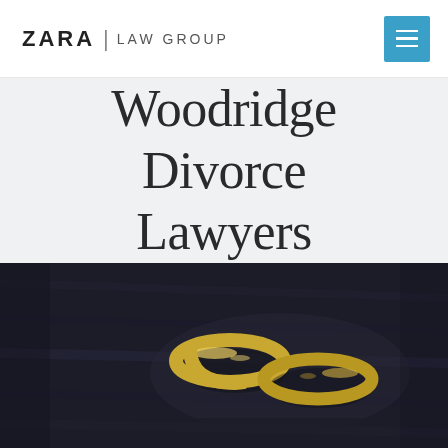ZARA | LAW GROUP
Woodridge Divorce Lawyers
[Figure (photo): Two gold wedding rings resting on a dark wooden surface, photographed with shallow depth of field]